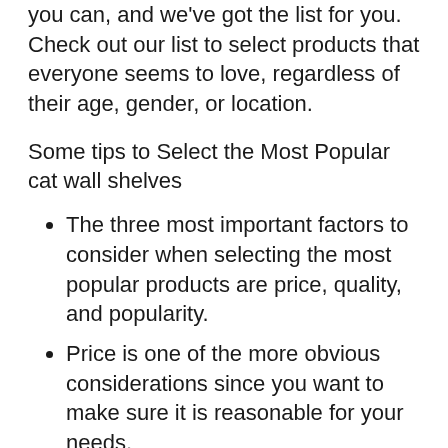you can, and we've got the list for you. Check out our list to select products that everyone seems to love, regardless of their age, gender, or location.
Some tips to Select the Most Popular cat wall shelves
The three most important factors to consider when selecting the most popular products are price, quality, and popularity.
Price is one of the more obvious considerations since you want to make sure it is reasonable for your needs.
Quality should also be considered because if you buy a product with poor quality then that will not help with your